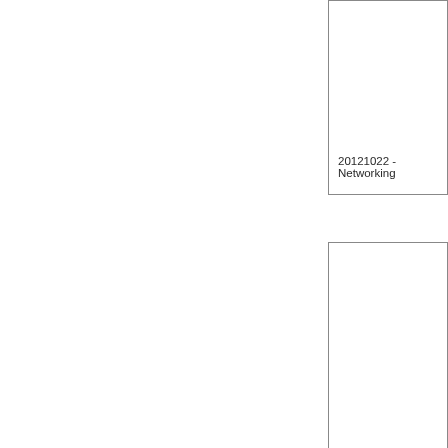[Figure (other): Partial box visible at top-right, cropped from left side. Contains label text '20121022 - Networking']
20121022 - Networking
[Figure (other): Large box in center-right area with label '20121007 - ■■' at bottom]
20121007 - ■■
[Figure (other): Partial box at bottom-right, cropped]